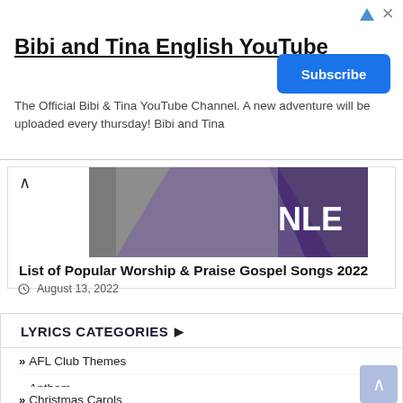[Figure (screenshot): YouTube advertisement banner for 'Bibi and Tina English YouTube' channel with a blue Subscribe button]
Bibi and Tina English YouTube
The Official Bibi & Tina YouTube Channel. A new adventure will be uploaded every thursday! Bibi and Tina
[Figure (photo): Partial photo of a person with purple geometric overlay and the letters 'NLE' visible]
List of Popular Worship & Praise Gospel Songs 2022
August 13, 2022
LYRICS CATEGORIES
AFL Club Themes
Anthem
Christmas Carols
Gospel Lyrics